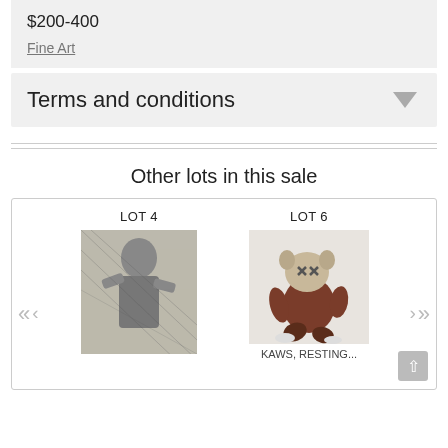$200-400
Fine Art
Terms and conditions
Other lots in this sale
[Figure (photo): LOT 4 - artwork showing a figure with tattoos singing or performing, black and white/dark toned image]
[Figure (photo): LOT 6 - KAWS Resting figure toy/sculpture, brown and red colored, sitting pose]
KAWS, RESTING...